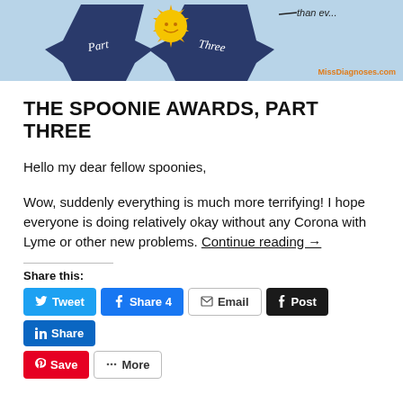[Figure (illustration): Top portion of a blog post image showing a blue ribbon award with 'Part' on the left ribbon and 'Three' on the right ribbon, a gold sun/medal in the center, on a light blue background. 'MissDiagnoses.com' is shown in orange in the bottom right. An arrow with partial text 'than ever...' is visible at top right.]
THE SPOONIE AWARDS, PART THREE
Hello my dear fellow spoonies,
Wow, suddenly everything is much more terrifying! I hope everyone is doing relatively okay without any Corona with Lyme or other new problems. Continue reading →
Share this: